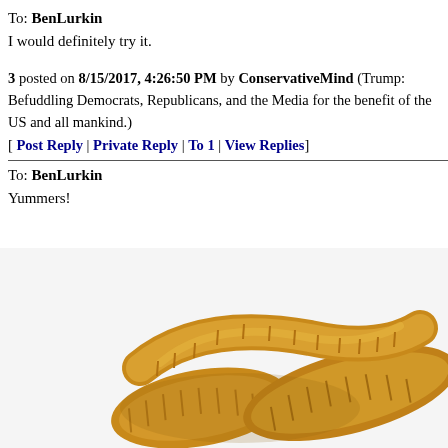To: BenLurkin
I would definitely try it.
3 posted on 8/15/2017, 4:26:50 PM by ConservativeMind (Trump: Befuddling Democrats, Republicans, and the Media for the benefit of the US and all mankind.)
[ Post Reply | Private Reply | To 1 | View Replies]
To: BenLurkin
Yummers!
[Figure (photo): Close-up photo of large yellow/golden mealworms or larvae coiled together on a white background]